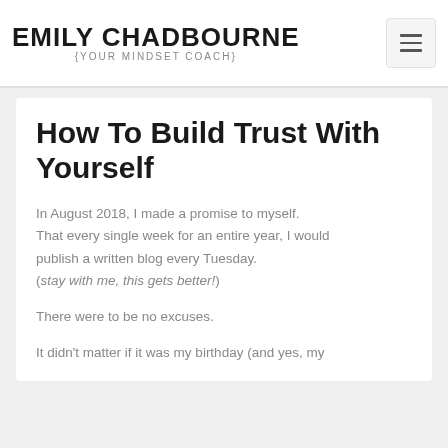EMILY CHADBOURNE {YOUR MINDSET COACH}
How To Build Trust With Yourself
In August 2018, I made a promise to myself. That every single week for an entire year, I would publish a written blog every Tuesday. (stay with me, this gets better!)
There were to be no excuses.
It didn't matter if it was my birthday (and yes, my